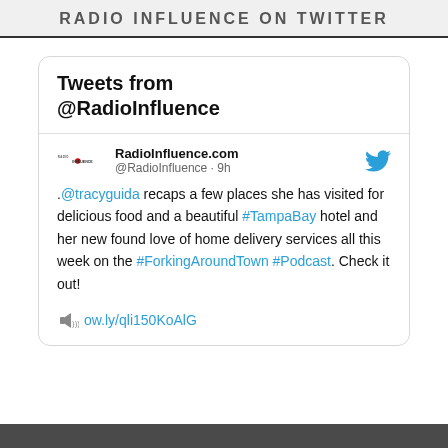RADIO INFLUENCE ON TWITTER
Tweets from @RadioInfluence
RadioInfluence.com @RadioInfluence · 9h
.@tracyguida recaps a few places she has visited for delicious food and a beautiful #TampaBay hotel and her new found love of home delivery services all this week on the #ForkingAroundTown #Podcast. Check it out!
🔊 ow.ly/qli150KoAlG